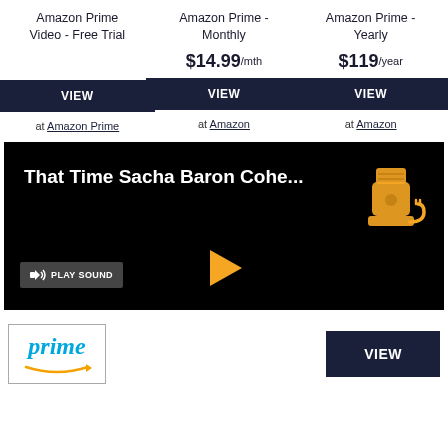Amazon Prime Video - Free Trial
Amazon Prime - Monthly
Amazon Prime - Yearly
$14.99/mth
$119/year
VIEW
VIEW
VIEW
at Amazon Prime
at Amazon
at Amazon
[Figure (screenshot): Video thumbnail with black background showing text 'That Time Sacha Baron Cohe...' with a blender icon, a PLAY SOUND button, and a yellow play triangle button]
[Figure (logo): Amazon Prime logo with blue italic 'prime' text and Amazon smile arrow]
VIEW